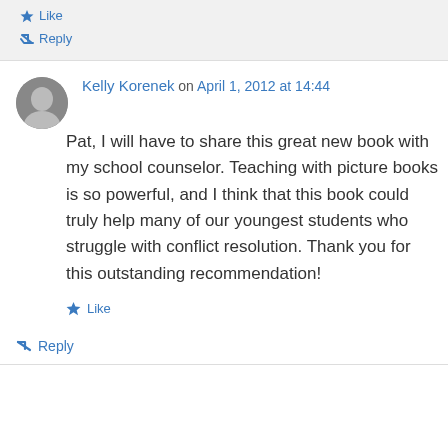★ Like
↳ Reply
Kelly Korenek on April 1, 2012 at 14:44
Pat, I will have to share this great new book with my school counselor. Teaching with picture books is so powerful, and I think that this book could truly help many of our youngest students who struggle with conflict resolution. Thank you for this outstanding recommendation!
★ Like
↳ Reply